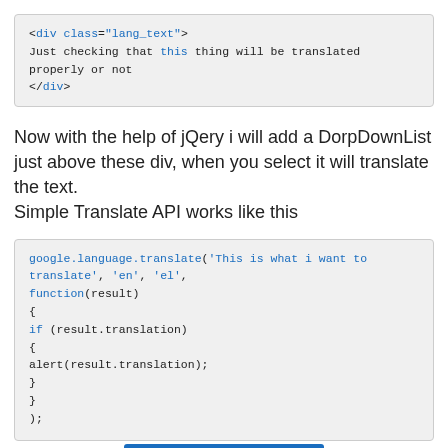[Figure (screenshot): Code block showing HTML: <div class="lang_text"> / Just checking that this thing will be translated properly or not / </div>]
Now with the help of jQery i will add a DorpDownList just above these div, when you select it will translate the text.
Simple Translate API works like this
[Figure (screenshot): Code block showing JavaScript: google.language.translate('This is what i want to translate', 'en', 'el', function(result) { if (result.translation) { alert(result.translation); } } );]